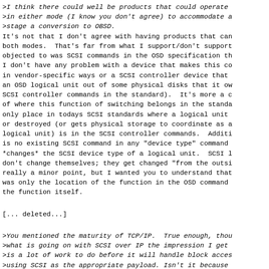>I think there could well be products that could operate
>in either mode (I know you don't agree) to accommodate a
>stage a conversion to OBSD.
It's not that I don't agree with having products that can
both modes.  That's far from what I support/don't support
objected to was SCSI commands in the OSD specification th
I don't have any problem with a device that makes this co
in vendor-specific ways or a SCSI controller device that
an OSD logical unit out of some physical disks that it ow
SCSI controller commands in the standard).  It's more a c
of where this function of switching belongs in the standa
only place in todays SCSI standards where a logical unit
or destroyed (or gets physical storage to coordinate as a
logical unit) is in the SCSI controller commands.  Additi
is no existing SCSI command in any "device type" command
*changes* the SCSI device type of a logical unit.  SCSI l
don't change themselves; they get changed "from the outsi
really a minor point, but I wanted you to understand that
was only the location of the function in the OSD command
the function itself.
[... deleted...]
>You mentioned the maturity of TCP/IP.  True enough, thou
>what is going on with SCSI over IP the impression I get
>is a lot of work to do before it will handle block acces
>using SCSI as the appropriate payload. Isn't it because
>solution of so many storage isseus that the proponents d
>waste/take the time to redo that work?